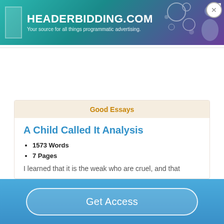[Figure (screenshot): Advertisement banner for HEADERBIDDING.COM with text 'Your source for all things programmatic advertising.' on a teal/purple gradient background with decorative elements and a close button.]
Good Essays
A Child Called It Analysis
1573 Words
7 Pages
I learned that it is the weak who are cruel, and that
Get Access